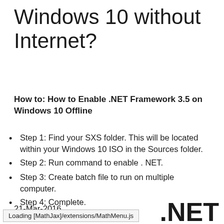Windows 10 without Internet?
How to: How to Enable .NET Framework 3.5 on Windows 10 Offline
Step 1: Find your SXS folder. This will be located within your Windows 10 ISO in the Sources folder.
Step 2: Run command to enable . NET.
Step 3: Create batch file to run on multiple computer.
Step 4: Complete.
21-Mar-2016
Loading [MathJax]/extensions/MathMenu.js    .NET